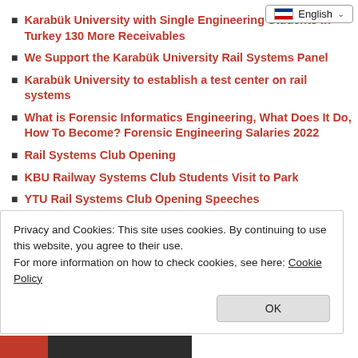Karabük University with Single Engineering Students in Turkey 130 More Receivables
We Support the Karabük University Rail Systems Panel
Karabük University to establish a test center on rail systems
What is Forensic Informatics Engineering, What Does It Do, How To Become? Forensic Engineering Salaries 2022
Rail Systems Club Opening
KBU Railway Systems Club Students Visit to Park
YTU Rail Systems Club Opening Speeches
rail panel will be held in Turkey
Privacy and Cookies: This site uses cookies. By continuing to use this website, you agree to their use. For more information on how to check cookies, see here: Cookie Policy